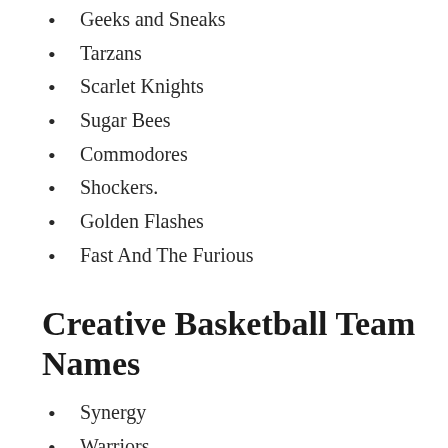Geeks and Sneaks
Tarzans
Scarlet Knights
Sugar Bees
Commodores
Shockers.
Golden Flashes
Fast And The Furious
Creative Basketball Team Names
Synergy
Warriors
The Gerbils
Grizzly Balls